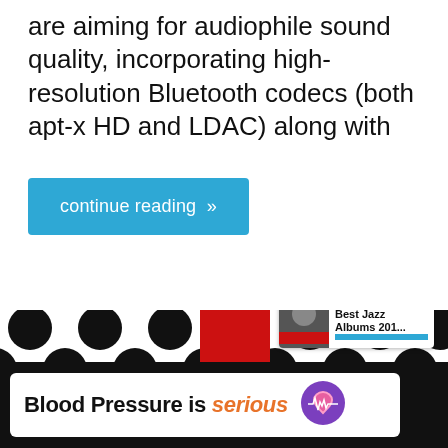are aiming for audiophile sound quality, incorporating high-resolution Bluetooth codecs (both apt-x HD and LDAC) along with
continue reading »
[Figure (screenshot): Music article image showing a black-and-white polka dot pattern with a large red L-shaped graphic overlay. UI elements include a heart/like button, share button, count badge '1', and a 'WHAT'S NEXT' card showing 'Best Jazz Albums 201...']
Blood Pressure is serious